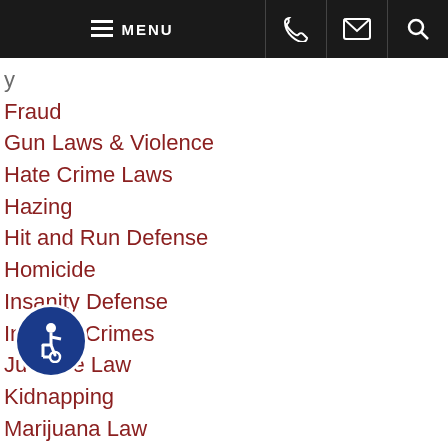MENU (navigation bar with phone, email, search icons)
Fraud
Gun Laws & Violence
Hate Crime Laws
Hazing
Hit and Run Defense
Homicide
Insanity Defense
Internet Crimes
Juvenile Law
Kidnapping
Marijuana Law
Miami News
Murder & Manslaughter
Palm Bay News
Perjury
Plea Bargaining
Probation
Prostitution
Robbery
Self-Defense
[Figure (illustration): Blue circle accessibility icon with wheelchair symbol]